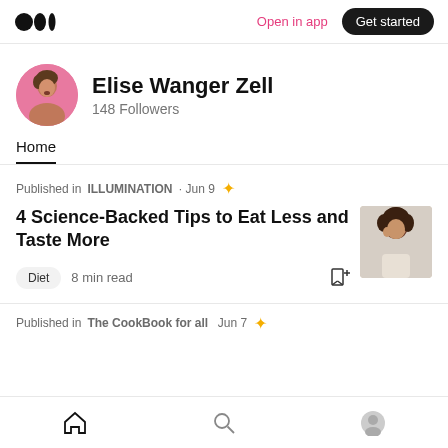Medium logo | Open in app | Get started
Elise Wanger Zell
148 Followers
Home
Published in ILLUMINATION · Jun 9 ✦
4 Science-Backed Tips to Eat Less and Taste More
Diet  8 min read
Published in The CookBook for all · Jun 7 ✦
Home | Search | Profile